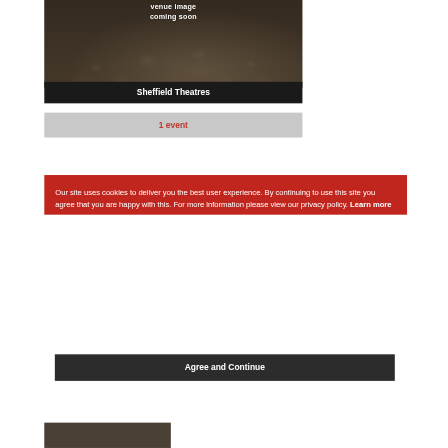[Figure (photo): Concert crowd photo with hands raised, dark toned, with text overlay reading 'venue image coming soon']
Sheffield Theatres
1 event
Our site uses cookies to deliver you the best user experience. By continuing to use this site you agree that you are happy with this. For more information please view our privacy policy.  Learn more
Agree and Continue